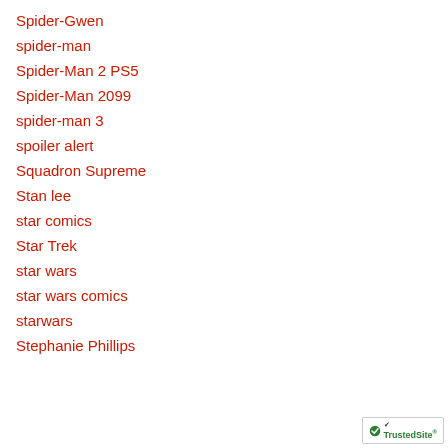Spider-Gwen
spider-man
Spider-Man 2 PS5
Spider-Man 2099
spider-man 3
spoiler alert
Squadron Supreme
Stan lee
star comics
Star Trek
star wars
star wars comics
starwars
Stephanie Phillips
[Figure (logo): TrustedSite badge with green checkmark]